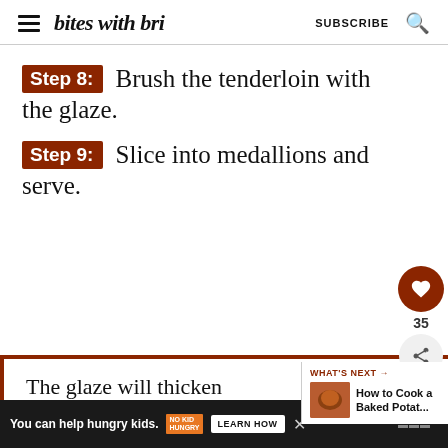bites with bri — SUBSCRIBE
Step 8: Brush the tenderloin with the glaze.
Step 9: Slice into medallions and serve.
The glaze will thicken cools. If it does not thicken,
WHAT'S NEXT → How to Cook a Baked Potat...
You can help hungry kids. NO KID HUNGRY LEARN HOW